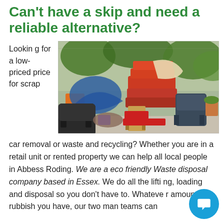Can't have a skip and need a reliable alternative?
Looking for a low-priced price for scrap car removal or waste and recycling? Whether you are in a retail unit or rented property we can help all local people in Abbess Roding. We are a eco friendly Waste disposal company based in Essex. We do all the lifting, loading and disposal so you don't have to. Whatever amount of rubbish you have, our two man teams can
[Figure (photo): Pile of old furniture and junk items including chairs, mattresses, and fabric bags stacked outside a building]